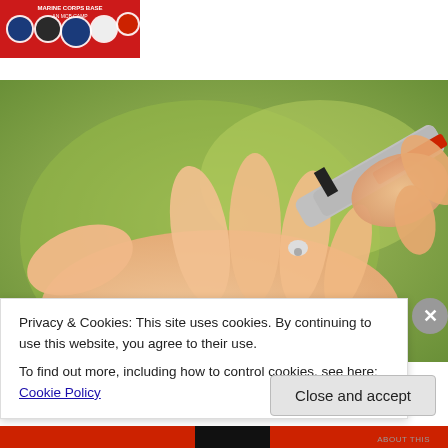[Figure (photo): Marine Corps Base banner/logo image with red background showing various military insignia and text]
[Figure (photo): Close-up photo of a hand being touched by a medical lancet/pen device for blood glucose testing, with green blurred background]
Privacy & Cookies: This site uses cookies. By continuing to use this website, you agree to their use.
To find out more, including how to control cookies, see here: Cookie Policy
Close and accept